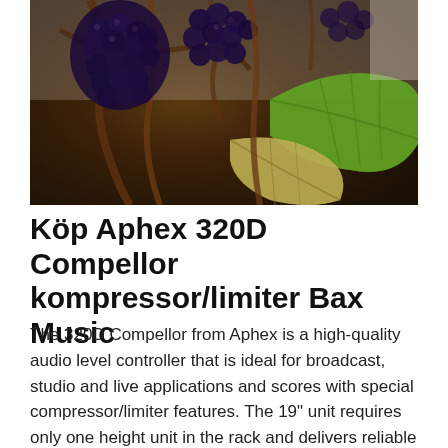[Figure (photo): Close-up photo of dark purple/black grapes on the vine with a green leaf visible in the lower right, and woody brown vine stems throughout]
Köp Aphex 320D Compellor kompressor/limiter Bax Music
The 320D Compellor from Aphex is a high-quality audio level controller that is ideal for broadcast, studio and live applications and scores with special compressor/limiter features. The 19" unit requires only one height unit in the rack and delivers reliable results when it comes to refining audio signals.